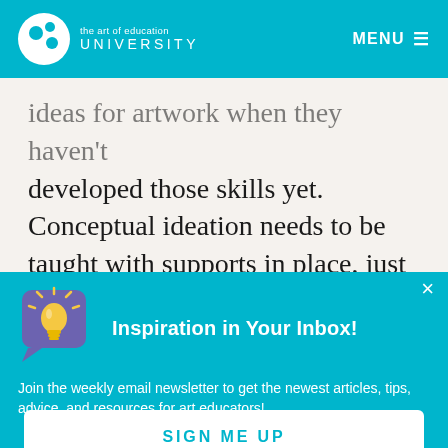the art of education UNIVERSITY | MENU
ideas for artwork when they haven't developed those skills yet. Conceptual ideation needs to be taught with supports in place, just like technical skill development. Teaching your students how to not only
Inspiration in Your Inbox!
Join the weekly email newsletter to get the newest articles, tips, advice, and resources for art educators!
SIGN ME UP